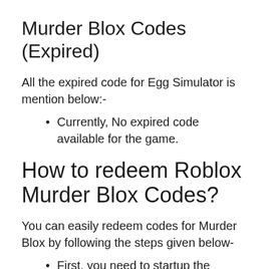Murder Blox Codes (Expired)
All the expired code for Egg Simulator is mention below:-
Currently, No expired code available for the game.
How to redeem Roblox Murder Blox Codes?
You can easily redeem codes for Murder Blox by following the steps given below-
First, you need to startup the Murder Blox game.